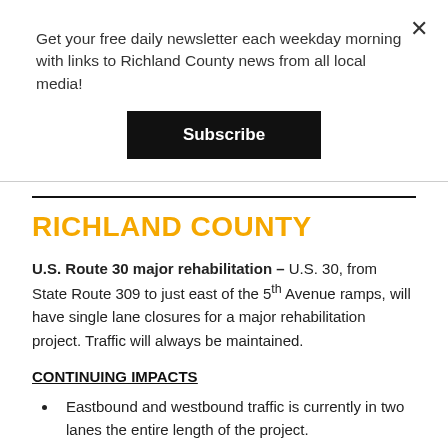Get your free daily newsletter each weekday morning with links to Richland County news from all local media!
Subscribe
RICHLAND COUNTY
U.S. Route 30 major rehabilitation – U.S. 30, from State Route 309 to just east of the 5th Avenue ramps, will have single lane closures for a major rehabilitation project. Traffic will always be maintained.
CONTINUING IMPACTS
Eastbound and westbound traffic is currently in two lanes the entire length of the project.